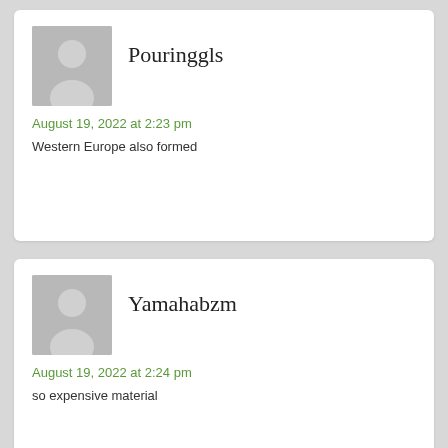[Figure (illustration): Default user avatar placeholder — gray silhouette of a person on gray background, for user Pouringgls]
Pouringgls
August 19, 2022 at 2:23 pm
Western Europe also formed
[Figure (illustration): Default user avatar placeholder — gray silhouette of a person on gray background, for user Yamahabzm]
Yamahabzm
August 19, 2022 at 2:24 pm
so expensive material